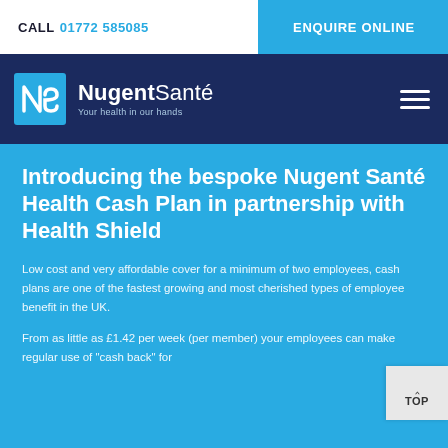CALL 01772 585085 | ENQUIRE ONLINE
[Figure (logo): NugentSanté logo with blue NS icon and white text on navy background. Tagline: Your health in our hands]
Introducing the bespoke Nugent Santé Health Cash Plan in partnership with Health Shield
Low cost and very affordable cover for a minimum of two employees, cash plans are one of the fastest growing and most cherished types of employee benefit in the UK.
From as little as £1.42 per week (per member) your employees can make regular use of "cash back" for